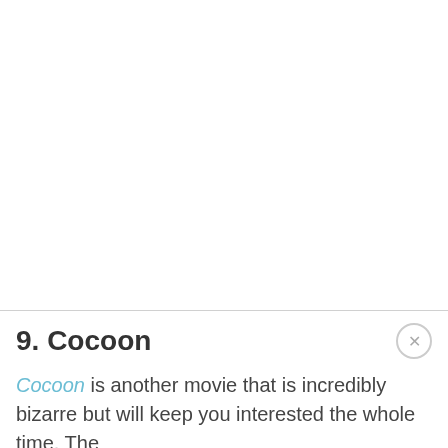[Figure (photo): Large image area (white/blank) occupying the top portion of the page]
9. Cocoon
Cocoon is another movie that is incredibly bizarre but will keep you interested the whole time. The